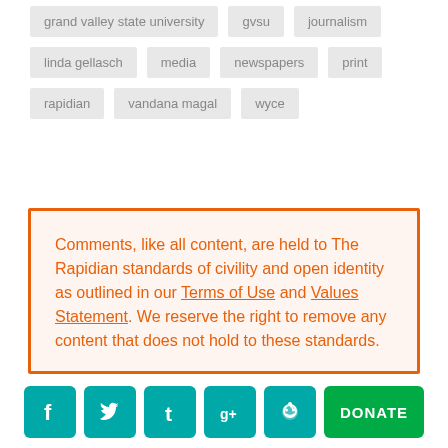grand valley state university
gvsu
journalism
linda gellasch
media
newspapers
print
rapidian
vandana magal
wyce
Comments, like all content, are held to The Rapidian standards of civility and open identity as outlined in our Terms of Use and Values Statement. We reserve the right to remove any content that does not hold to these standards.
[Figure (infographic): Social media icons: Facebook, Twitter, Tumblr, Google+, Reddit, and a green DONATE button]